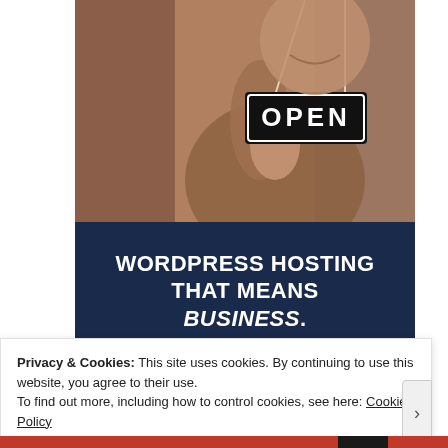[Figure (photo): A smiling person holding an OPEN sign, photographed in a warm-toned setting suggesting a small business or cafe entrance.]
WORDPRESS HOSTING THAT MEANS BUSINESS.
Privacy & Cookies: This site uses cookies. By continuing to use this website, you agree to their use.
To find out more, including how to control cookies, see here: Cookie Policy
Close and accept